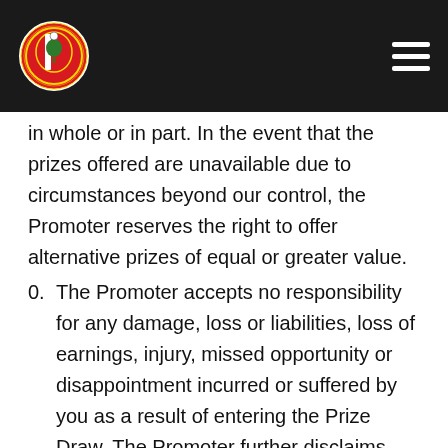Southampton FC logo and navigation
in whole or in part. In the event that the prizes offered are unavailable due to circumstances beyond our control, the Promoter reserves the right to offer alternative prizes of equal or greater value.
0. The Promoter accepts no responsibility for any damage, loss or liabilities, loss of earnings, injury, missed opportunity or disappointment incurred or suffered by you as a result of entering the Prize Draw. The Promoter further disclaims any liability for injury or damage to your or any other person’s electronic devices relating to or resulting from participation in or downloading any materials in connection with the Competition. Nothing in these Terms and Conditions shall exclude the liability of the Promoter for death,